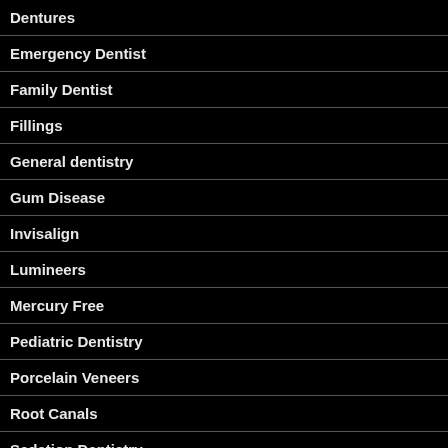Dentures
Emergency Dentist
Family Dentist
Fillings
General dentistry
Gum Disease
Invisalign
Lumineers
Mercury Free
Pediatric Dentistry
Porcelain Veneers
Root Canals
Sedation Dentistry